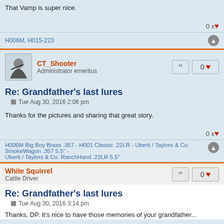That Vamp is super nice.
0 x ♥
H006M, H015-223
CT_Shooter
Administrator emeritus
Re: Grandfather's last lures
Tue Aug 30, 2016 2:06 pm
Thanks for the pictures and sharing that great story.
0 x ♥
H006M Big Boy Brass .357 - H001 Classic .22LR - Uberti / Taylors & Co. SmokeWagon .357 5.5" - Uberti / Taylors & Co. RanchHand .22LR 5.5"
White Squirrel
Cattle Driver
Re: Grandfather's last lures
Tue Aug 30, 2016 3:14 pm
Thanks, DP. It's nice to have those memories of your grandfather...